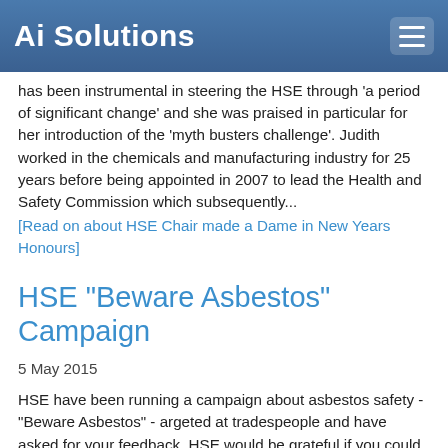Ai Solutions
has been instrumental in steering the HSE through 'a period of significant change' and she was praised in particular for her introduction of the 'myth busters challenge'. Judith worked in the chemicals and manufacturing industry for 25 years before being appointed in 2007 to lead the Health and Safety Commission which subsequently...
[Read on about HSE Chair made a Dame in New Years Honours]
HSE "Beware Asbestos" Campaign
5 May 2015
HSE have been running a campaign about asbestos safety - "Beware Asbestos" - argeted at tradespeople and have asked for your feedback. HSE would be grateful if you could spare no more than 15 minutes to complete a simple on-line survey. The survey is designed for any tradespeople who will have seen